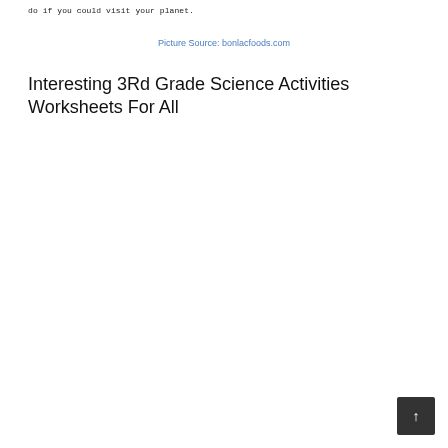do if you could visit your planet.
Picture Source: bonlacfoods.com
Interesting 3Rd Grade Science Activities Worksheets For All